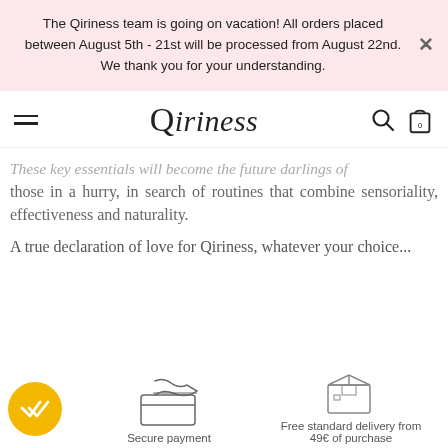The Qiriness team is going on vacation! All orders placed between August 5th - 21st will be processed from August 22nd. We thank you for your understanding.
Qiriness
These key essentials will become the future darlings of those in a hurry, in search of routines that combine sensoriality, effectiveness and naturality.
A true declaration of love for Qiriness, whatever your choice...
[Figure (infographic): Yellow circular badge with double checkmark, credit card with hand (secure payment icon), and a box package icon (free delivery icon). Labels: 'Secure payment', 'Free standard delivery from 49€ of purchase']